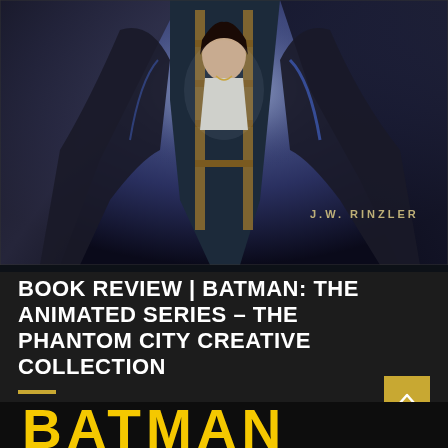[Figure (photo): Book cover photo showing a figure in a dark cape/costume holding a wooden ladder with a woman in the center; dark blue/purple lighting; text 'J.W. RINZLER' in lower right]
BOOK REVIEW | BATMAN: THE ANIMATED SERIES – THE PHANTOM CITY CREATIVE COLLECTION
[Figure (logo): BATMAN text logo in large bold yellow letters on black background]